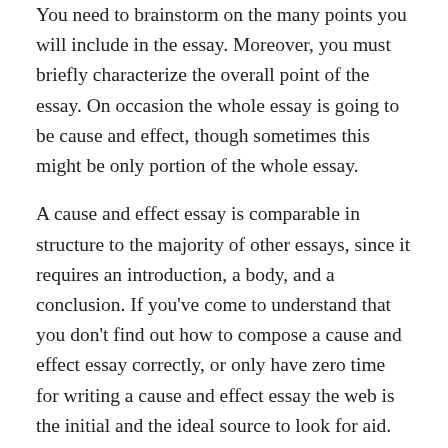You need to brainstorm on the many points you will include in the essay. Moreover, you must briefly characterize the overall point of the essay. On occasion the whole essay is going to be cause and effect, though sometimes this might be only portion of the whole essay.
A cause and effect essay is comparable in structure to the majority of other essays, since it requires an introduction, a body, and a conclusion. If you've come to understand that you don't find out how to compose a cause and effect essay correctly, or only have zero time for writing a cause and effect essay the web is the initial and the ideal source to look for aid. You might find that you're assigned to compose a cause and effect essay for a writing class, but you could also encounter cause and effect assignments in different disciplines.